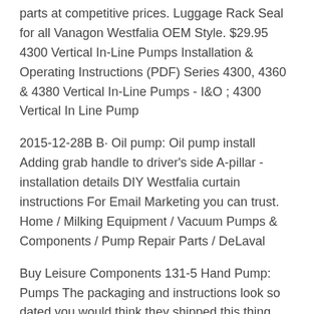parts at competitive prices. Luggage Rack Seal for all Vanagon Westfalia OEM Style. $29.95 4300 Vertical In-Line Pumps Installation & Operating Instructions (PDF) Series 4300, 4360 & 4380 Vertical In-Line Pumps - I&O ; 4300 Vertical In Line Pump
2015-12-28B B· Oil pump: Oil pump install Adding grab handle to driver's side A-pillar - installation details DIY Westfalia curtain instructions For Email Marketing you can trust. Home / Milking Equipment / Vacuum Pumps & Components / Pump Repair Parts / DeLaval
Buy Leisure Components 131-5 Hand Pump: Pumps The packaging and instructions look so dated you would think they shipped this thing from 1979. 4300 Vertical In-Line Pumps Installation & Operating Instructions (PDF) Series 4300, 4360 & 4380 Vertical In-Line Pumps - I&O ; 4300 Vertical In Line